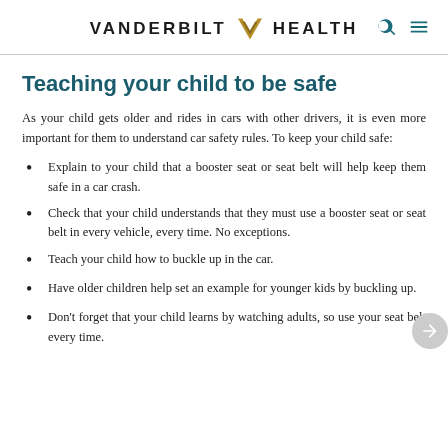VANDERBILT HEALTH
Teaching your child to be safe
As your child gets older and rides in cars with other drivers, it is even more important for them to understand car safety rules. To keep your child safe:
Explain to your child that a booster seat or seat belt will help keep them safe in a car crash.
Check that your child understands that they must use a booster seat or seat belt in every vehicle, every time. No exceptions.
Teach your child how to buckle up in the car.
Have older children help set an example for younger kids by buckling up.
Don't forget that your child learns by watching adults, so use your seat belt every time.